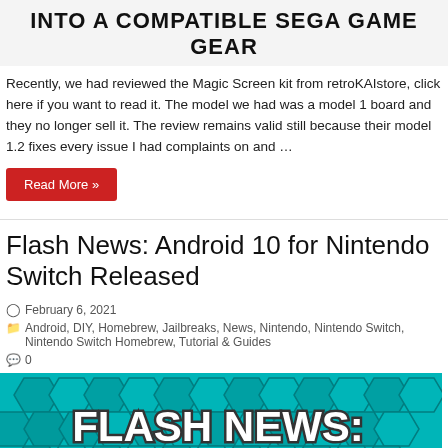INTO A COMPATIBLE SEGA GAME GEAR
Recently, we had reviewed the Magic Screen kit from retroKAIstore, click here if you want to read it. The model we had was a model 1 board and they no longer sell it. The review remains valid still because their model 1.2 fixes every issue I had complaints on and …
Read More »
Flash News: Android 10 for Nintendo Switch Released
February 6, 2021
Android, DIY, Homebrew, Jailbreaks, News, Nintendo, Nintendo Switch, Nintendo Switch Homebrew, Tutorial & Guides
0
[Figure (photo): Flash News banner image with teal geometric hexagon background and large white bold text reading 'FLASH NEWS:' with a Nintendo Switch controller visible at the bottom]